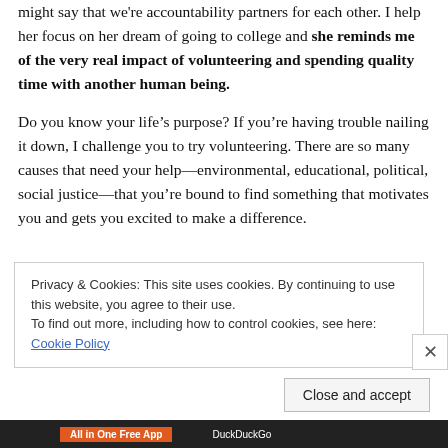might say that we're accountability partners for each other. I help her focus on her dream of going to college and she reminds me of the very real impact of volunteering and spending quality time with another human being.
Do you know your life's purpose? If you're having trouble nailing it down, I challenge you to try volunteering. There are so many causes that need your help—environmental, educational, political, social justice—that you're bound to find something that motivates you and gets you excited to make a difference.
Privacy & Cookies: This site uses cookies. By continuing to use this website, you agree to their use. To find out more, including how to control cookies, see here: Cookie Policy
Close and accept